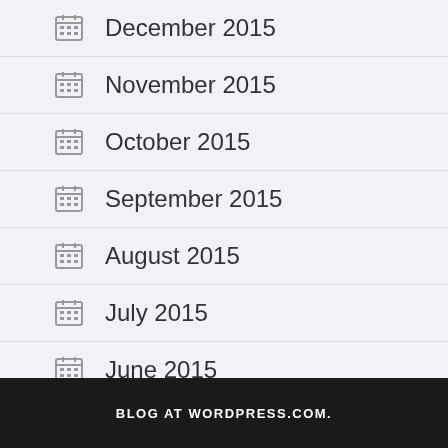December 2015
November 2015
October 2015
September 2015
August 2015
July 2015
June 2015
BLOG AT WORDPRESS.COM.